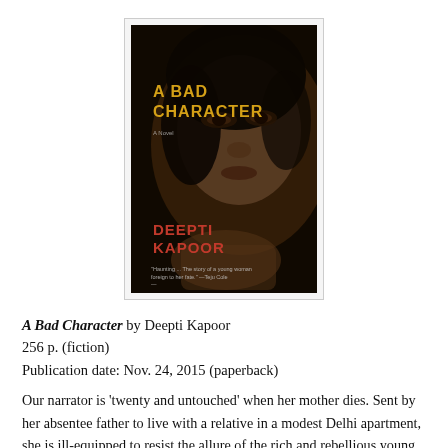[Figure (illustration): Book cover of 'A Bad Character' by Deepti Kapoor. Dark, moody cover showing a close-up of a woman's face with the title in yellow text and author name in red/orange text at the bottom.]
A Bad Character by Deepti Kapoor
256 p. (fiction)
Publication date: Nov. 24, 2015 (paperback)
Our narrator is 'twenty and untouched' when her mother dies. Sent by her absentee father to live with a relative in a modest Delhi apartment, she is ill-equipped to resist the allure of the rich and rebellious young man from a different social class who approaches her one day at a cafe. As they drive around Delhi—eating, making love, falling apart—he into her and, at turns, thrilling, drifts that she becomes a...